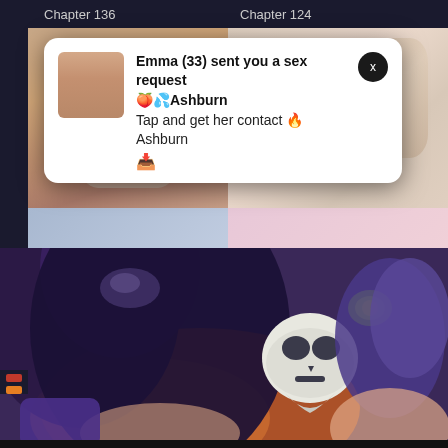Chapter 136
Chapter 124
[Figure (screenshot): Mobile app screenshot showing adult manga/webtoon content browser with multiple chapter thumbnails and an ad popup overlay]
Emma (33) sent you a sex request 🍑💦Ashburn
Tap and get her contact 🔥Ashburn
📥